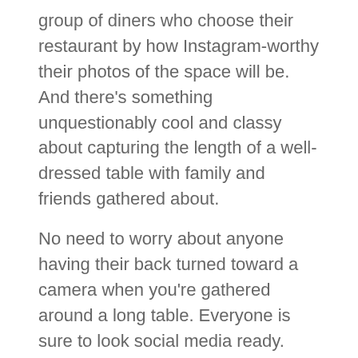group of diners who choose their restaurant by how Instagram-worthy their photos of the space will be. And there's something unquestionably cool and classy about capturing the length of a well-dressed table with family and friends gathered about.
No need to worry about anyone having their back turned toward a camera when you're gathered around a long table. Everyone is sure to look social media ready.
4. They're More Profitable